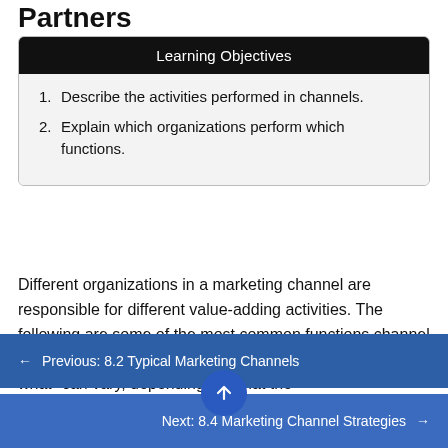Partners
Learning Objectives
1. Describe the activities performed in channels.
2. Explain which organizations perform which functions.
Different organizations in a marketing channel are responsible for different value-adding activities. The following are some of the most common functions channel members perform. However, keep in mind that "who does what" can vary, depending on what the
← Previous: 8.2 Typical Marketing Channels
Next: 8.4 Marketing Channel Strategies →